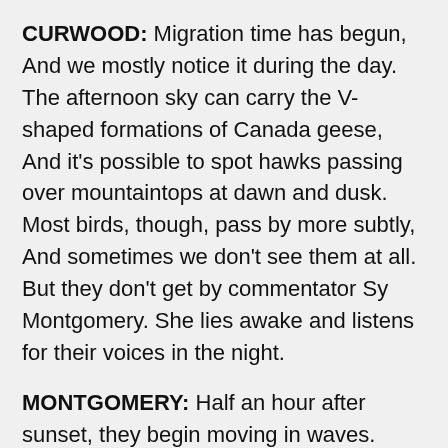CURWOOD: Migration time has begun, And we mostly notice it during the day. The afternoon sky can carry the V-shaped formations of Canada geese, And it's possible to spot hawks passing over mountaintops at dawn and dusk. Most birds, though, pass by more subtly, And sometimes we don't see them at all. But they don't get by commentator Sy Montgomery. She lies awake and listens for their voices in the night.
MONTGOMERY: Half an hour after sunset, they begin moving in waves. Protected by the darkness, guided by the stars, millions of tiny song birds pass over our roof tops, flying invisibly through the night. The dark hides these fragile creatures from predators like hawks, who migrate by day. The evening's cool, stable air smooths their flyways. But to bird-watchers' frustration, night also